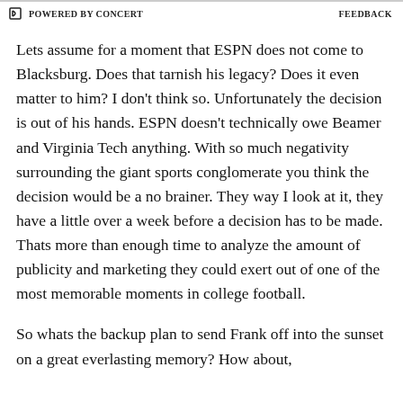POWERED BY CONCERT   FEEDBACK
Lets assume for a moment that ESPN does not come to Blacksburg. Does that tarnish his legacy? Does it even matter to him? I don't think so. Unfortunately the decision is out of his hands. ESPN doesn't technically owe Beamer and Virginia Tech anything. With so much negativity surrounding the giant sports conglomerate you think the decision would be a no brainer. They way I look at it, they have a little over a week before a decision has to be made. Thats more than enough time to analyze the amount of publicity and marketing they could exert out of one of the most memorable moments in college football.
So whats the backup plan to send Frank off into the sunset on a great everlasting memory? How about,